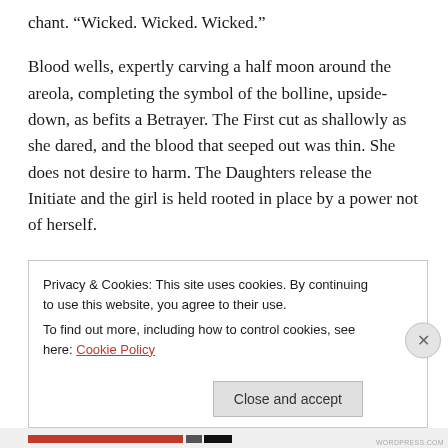chant. “Wicked. Wicked. Wicked.”
Blood wells, expertly carving a half moon around the areola, completing the symbol of the bolline, upside-down, as befits a Betrayer. The First cut as shallowly as she dared, and the blood that seeped out was thin. She does not desire to harm. The Daughters release the Initiate and the girl is held rooted in place by a power not of herself.
The fires at her feet began to dim, and as they go out, one after another, the flames begin to simmer behind her eyes.
A whimper escapes her lips, and with it, fire dances. She
Privacy & Cookies: This site uses cookies. By continuing to use this website, you agree to their use.
To find out more, including how to control cookies, see here: Cookie Policy
Close and accept